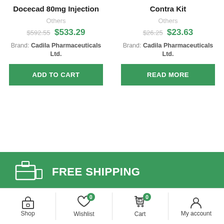Docecad 80mg Injection
Others
$592.55 $533.29
Brand: Cadila Pharmaceuticals Ltd.
Contra Kit
Others
$26.25 $23.63
Brand: Cadila Pharmaceuticals Ltd.
FREE SHIPPING
Shop  Wishlist 0  Cart 0  My account